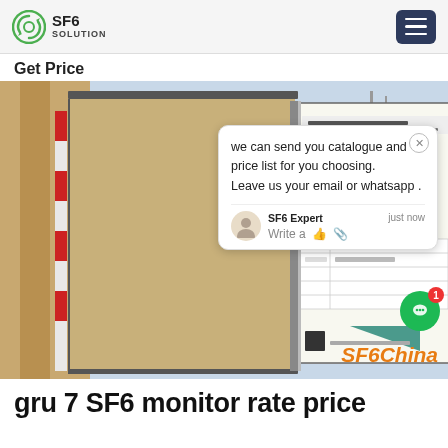SF6 SOLUTION
Get Price
[Figure (photo): Photo of an SF6 monitor unit inside an open equipment cabinet door, showing a product brochure/datasheet with hexagonal logo patterns and a table. Industrial tanks and structures visible in background. A chat popup overlay shows: 'we can send you catalogue and price list for you choosing. Leave us your email or whatsapp .' with SF6 Expert avatar and timestamp 'just now'. SF6China watermark in orange at bottom right.]
gru 7 SF6 monitor rate price